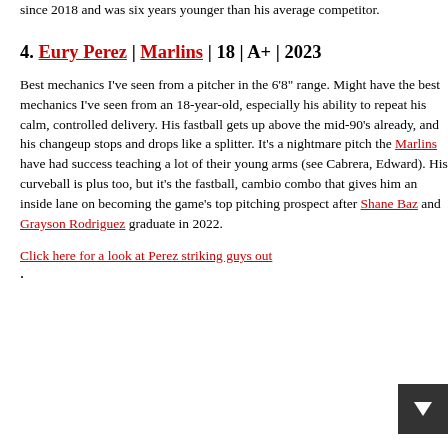since 2018 and was six years younger than his average competitor.
4. Eury Perez | Marlins | 18 | A+ | 2023
Best mechanics I've seen from a pitcher in the 6'8" range. Might have the best mechanics I've seen from an 18-year-old, especially his ability to repeat his calm, controlled delivery. His fastball gets up above the mid-90's already, and his changeup stops and drops like a splitter. It's a nightmare pitch the Marlins have had success teaching a lot of their young arms (see Cabrera, Edward). His curveball is plus too, but it's the fastball, cambio combo that gives him an inside lane on becoming the game's top pitching prospect after Shane Baz and Grayson Rodriguez graduate in 2022.
Click here for a look at Perez striking guys out.